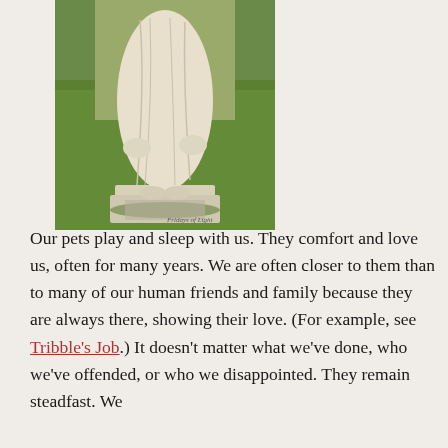[Figure (photo): A white stone or concrete religious statue (lower body/robes visible) standing on a base, with green grass in the background. Watermark reads 'Fridays of Light' in small italic text at the bottom right of the image.]
Our pets play and sleep with us. They comfort and love us, often for many years. We are often closer to them than to many of our human friends and family because they are always there, showing their love. (For example, see Tribble's Job.) It doesn't matter what we've done, who we've offended, or who we disappointed. They remain steadfast. We